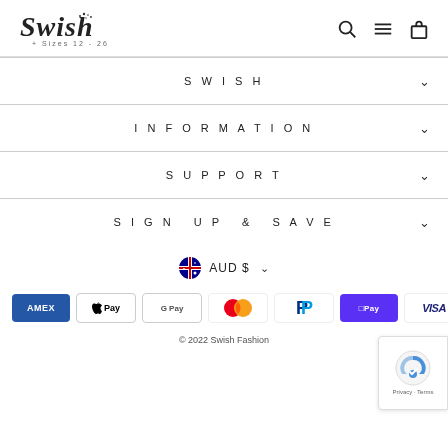Swish + Sizes 12 - 26
SWISH
INFORMATION
SUPPORT
SIGN UP & SAVE
AUD $
[Figure (other): Payment method icons: American Express, Apple Pay, Google Pay, Mastercard, PayPal, Shop Pay, Visa, Afterpay]
© 2022 Swish Fashion